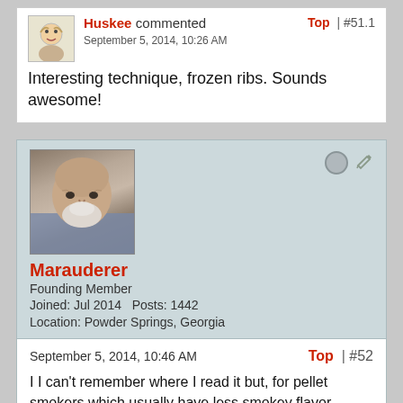Huskee commented — September 5, 2014, 10:26 AM — Top | #51.1
Interesting technique, frozen ribs. Sounds awesome!
Marauderer — Founding Member — Joined: Jul 2014  Posts: 1442 — Location: Powder Springs, Georgia
September 5, 2014, 10:46 AM — Top | #52
I I can't remember where I read it but, for pellet smokers which usually have less smokey flavor putting them on frozen keeps the meat cooler longer so it is suppose to absorb more smoky flavor. I took the ribs and put my HRR on them and left them in the fridge for 12 hours and then, from there, you do just as you would...